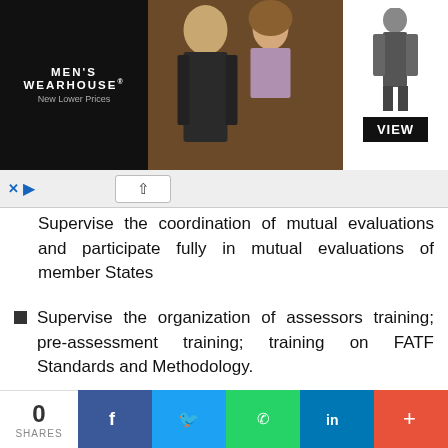[Figure (photo): Men's Wearhouse advertisement banner with couple in formal wear and a man in suit on right side with VIEW button]
Supervise the coordination of mutual evaluations and participate fully in mutual evaluations of member States
Supervise the organization of assessors training; pre-assessment training; training on FATF Standards and Methodology.
Manage the activities (submission of Follow Up Reports; analyses of FURs ; etc.) of the GIABA Evaluation and Compliance Group meetings
Coordinate the identification, design and implementation of capacity building activities in the legal and law enforcement sectors for member
[Figure (other): Social sharing bar with share count 0, Facebook, Twitter, WhatsApp, LinkedIn, and plus buttons]